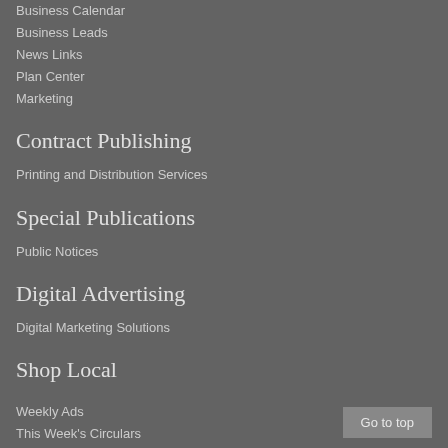Business Calendar
Business Leads
News Links
Plan Center
Marketing
Contract Publishing
Printing and Distribution Services
Special Publications
Public Notices
Digital Advertising
Digital Marketing Solutions
Shop Local
Weekly Ads
This Week's Circulars
Find your Next Vehicle
Special Sections
Go to top